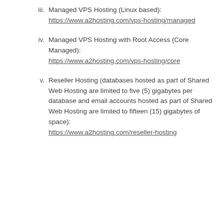iii. Managed VPS Hosting (Linux based): https://www.a2hosting.com/vps-hosting/managed
iv. Managed VPS Hosting with Root Access (Core Managed): https://www.a2hosting.com/vps-hosting/core
v. Reseller Hosting (databases hosted as part of Shared Web Hosting are limited to five (5) gigabytes per database and email accounts hosted as part of Shared Web Hosting are limited to fifteen (15) gigabytes of space): https://www.a2hosting.com/reseller-hosting